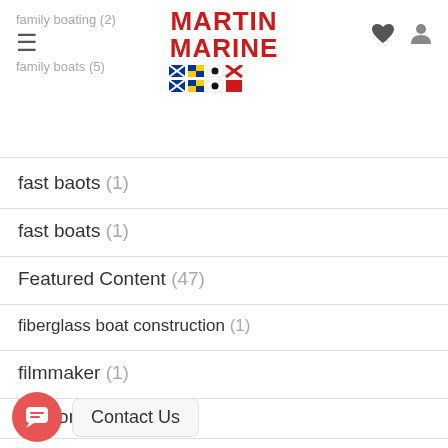Martin Marine navigation header with logo and menu
fast baots (1)
fast boats (1)
Featured Content (47)
fiberglass boat construction (1)
filmmaker (1)
fireworks (1)
fireworks display (1)
fishfinder (1)
fis...au
Fishing (30)
[Figure (other): Chat widget button with speech bubble icon and Contact Us label]